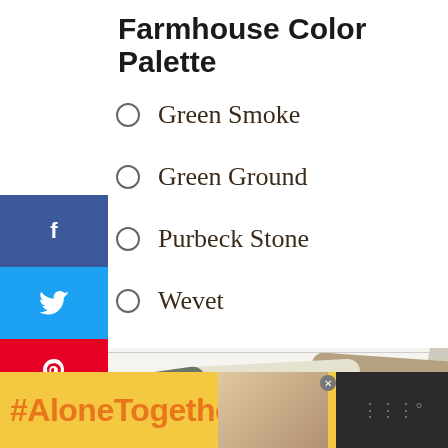Farmhouse Color Palette
Green Smoke
Green Ground
Purbeck Stone
Wevet
[Figure (photo): Four paint color swatches fanned out: dark sage green, cream, taupe/tan, and light warm white]
[Figure (screenshot): Social sharing sidebar with Facebook, Twitter, Pinterest (7), heart (1), and email buttons showing 7 total shares]
[Figure (screenshot): Bottom banner ad showing #AloneTogether in orange on yellow background, and a What's Next widget for Farrow and Ball Hague...]